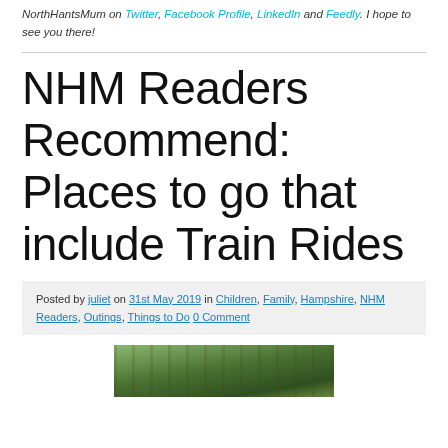NorthHantsMum on Twitter, Facebook Profile, LinkedIn and Feedly. I hope to see you there!
NHM Readers Recommend: Places to go that include Train Rides
Posted by juliet on 31st May 2019 in Children, Family, Hampshire, NHM Readers, Outings, Things to Do 0 Comment
[Figure (photo): Outdoor photo showing trees and greenery, partially visible at the bottom of the page]